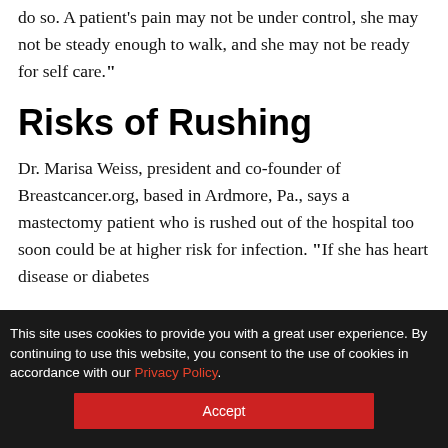do so. A patient's pain may not be under control, she may not be steady enough to walk, and she may not be ready for self care."
Risks of Rushing
Dr. Marisa Weiss, president and co-founder of Breastcancer.org, based in Ardmore, Pa., says a mastectomy patient who is rushed out of the hospital too soon could be at higher risk for infection. "If she has heart disease or diabetes
This site uses cookies to provide you with a great user experience. By continuing to use this website, you consent to the use of cookies in accordance with our Privacy Policy.
Accept